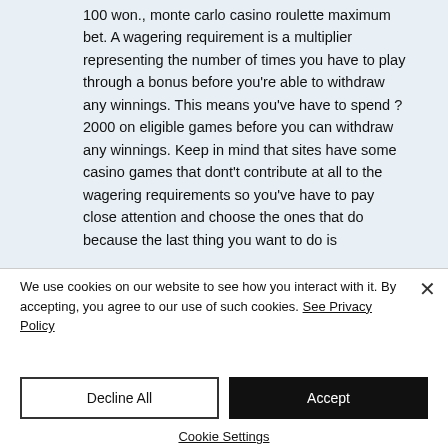100 won., monte carlo casino roulette maximum bet. A wagering requirement is a multiplier representing the number of times you have to play through a bonus before you're able to withdraw any winnings. This means you've have to spend ?2000 on eligible games before you can withdraw any winnings. Keep in mind that sites have some casino games that dont't contribute at all to the wagering requirements so you've have to pay close attention and choose the ones that do because the last thing you want to do is
We use cookies on our website to see how you interact with it. By accepting, you agree to our use of such cookies. See Privacy Policy
Decline All
Accept
Cookie Settings